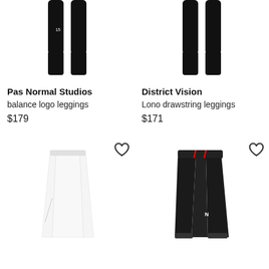[Figure (photo): Black compression leggings by Pas Normal Studios, front view]
[Figure (photo): Black compression leggings by District Vision, front view]
Pas Normal Studios
balance logo leggings
$179
District Vision
Lono drawstring leggings
$171
[Figure (photo): White wide-leg pants, front view]
[Figure (photo): Black jogger pants with red drawstring, front view]